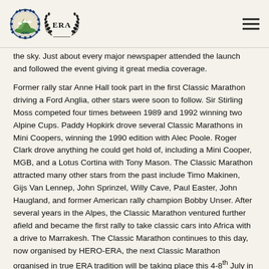HERO-ERA logos and navigation
the sky. Just about every major newspaper attended the launch and followed the event giving it great media coverage.
Former rally star Anne Hall took part in the first Classic Marathon driving a Ford Anglia, other stars were soon to follow. Sir Stirling Moss competed four times between 1989 and 1992 winning two Alpine Cups. Paddy Hopkirk drove several Classic Marathons in Mini Coopers, winning the 1990 edition with Alec Poole. Roger Clark drove anything he could get hold of, including a Mini Cooper, MGB, and a Lotus Cortina with Tony Mason. The Classic Marathon attracted many other stars from the past include Timo Makinen, Gijs Van Lennep, John Sprinzel, Willy Cave, Paul Easter, John Haugland, and former American rally champion Bobby Unser. After several years in the Alpes, the Classic Marathon ventured further afield and became the first rally to take classic cars into Africa with a drive to Marrakesh. The Classic Marathon continues to this day, now organised by HERO-ERA, the next Classic Marathon organised in true ERA tradition will be taking place this 4-8th July in